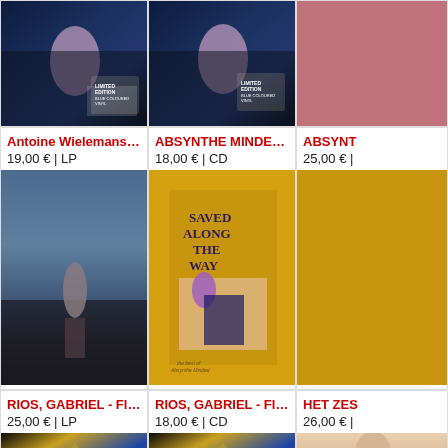[Figure (photo): Album cover with dark blue scene, limited edition vinyl, blue colored]
[Figure (photo): Album cover with dark blue scene, limited edition CD, blue colored]
[Figure (photo): Partial pink album cover]
Antoine Wielemans -...
19,00 € | LP
[Figure (photo): Album cover showing person standing on rocky beach/landscape under blue sky]
ABSYNTHE MINDED - Saved...
18,00 € | CD
[Figure (photo): Yellow album cover with text SAVED ALONG THE WAY, showing figures in a room]
ABSYNT
25,00 € |
[Figure (photo): Partial yellow album cover]
RIOS, GABRIEL - Flore (...
25,00 € | LP
[Figure (photo): Abstract colorful album cover with geometric shapes]
RIOS, GABRIEL - Flore
18,00 € | CD
[Figure (photo): Abstract colorful album cover with geometric shapes]
HET ZES
26,00 € |
[Figure (photo): Partial photo of person]